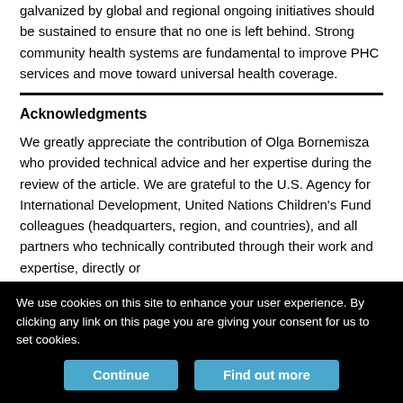galvanized by global and regional ongoing initiatives should be sustained to ensure that no one is left behind. Strong community health systems are fundamental to improve PHC services and move toward universal health coverage.
Acknowledgments
We greatly appreciate the contribution of Olga Bornemisza who provided technical advice and her expertise during the review of the article. We are grateful to the U.S. Agency for International Development, United Nations Children's Fund colleagues (headquarters, region, and countries), and all partners who technically contributed through their work and expertise, directly or
We use cookies on this site to enhance your user experience. By clicking any link on this page you are giving your consent for us to set cookies.